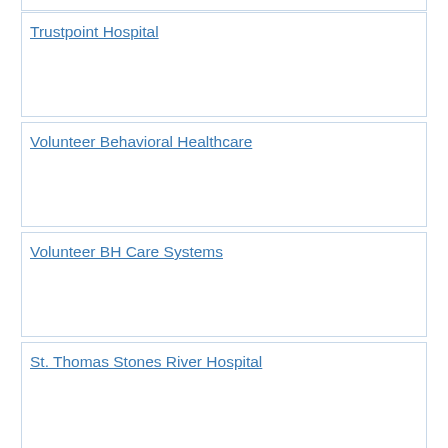Trustpoint Hospital
Volunteer Behavioral Healthcare
Volunteer BH Care Systems
St. Thomas Stones River Hospital
Lebanon Academy